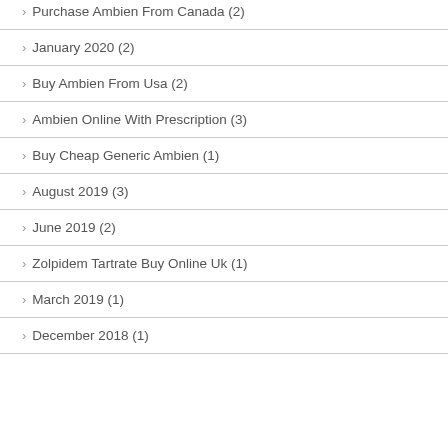Purchase Ambien From Canada (2)
January 2020 (2)
Buy Ambien From Usa (2)
Ambien Online With Prescription (3)
Buy Cheap Generic Ambien (1)
August 2019 (3)
June 2019 (2)
Zolpidem Tartrate Buy Online Uk (1)
March 2019 (1)
December 2018 (1)